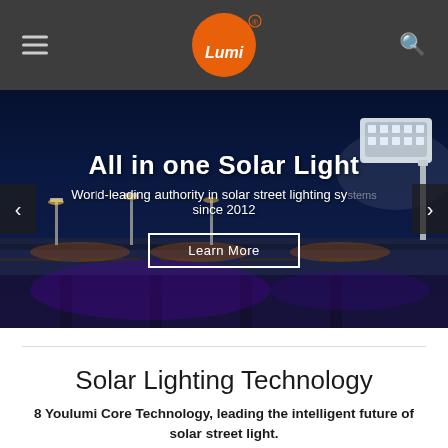[Figure (logo): YouLumi logo - orange circle with white text 'You Lumi' and registered trademark symbol, on dark gray header background with hamburger menu icon on left and search icon on right]
[Figure (photo): Hero banner showing a night scene of a bridge with orange street lights and a solar street light fixture on the right side. Text overlay reads 'All in one Solar Light', 'World-leading authority in solar street lighting systems since 2012', and a 'Learn More' button. Navigation arrows on left and right.]
Solar Lighting Technology
8 Youlumi Core Technology, leading the intelligent future of solar street light.